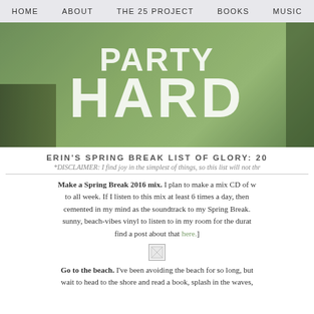HOME  ABOUT  THE 25 PROJECT  BOOKS  MUSIC
[Figure (photo): Hero image with large white bold text reading 'HARD' (and partial top line) overlaid on a green-tinted room photo with bookshelves visible on the left and a person on the right edge.]
ERIN'S SPRING BREAK LIST OF GLORY: 20
*DISCLAIMER: I find joy in the simplest of things, so this list will not thr
Make a Spring Break 2016 mix. I plan to make a mix CD of w to all week. If I listen to this mix at least 6 times a day, then cemented in my mind as the soundtrack to my Spring Break. sunny, beach-vibes vinyl to listen to in my room for the durat find a post about that here.]
[Figure (photo): Small broken/placeholder image icon]
Go to the beach. I've been avoiding the beach for so long, but wait to head to the shore and read a book, splash in the waves,